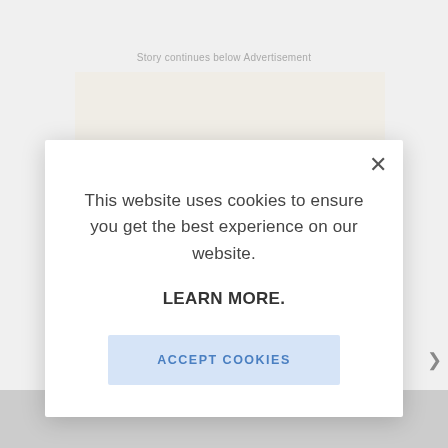Story continues below Advertisement
[Figure (screenshot): Background webpage showing a Glamour magazine advertisement, partially obscured by cookie consent modal]
This website uses cookies to ensure you get the best experience on our website.
LEARN MORE.
ACCEPT COOKIES